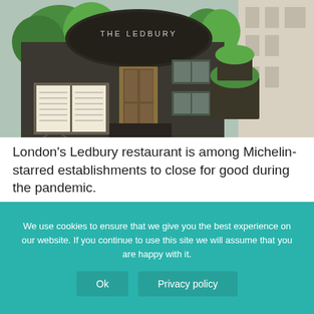[Figure (photo): Exterior of The Ledbury restaurant in London, showing a dark facade with the restaurant name on a canopy awning, a menu display board on the left, and potted green shrubs flanking the entrance.]
London's Ledbury restaurant is among Michelin-starred establishments to close for good during the pandemic.
John Stillwell/PA Images/Getty Images
We use cookies to ensure that we give you the best experience on our website. If you continue to use this site we will assume that you are happy with it.